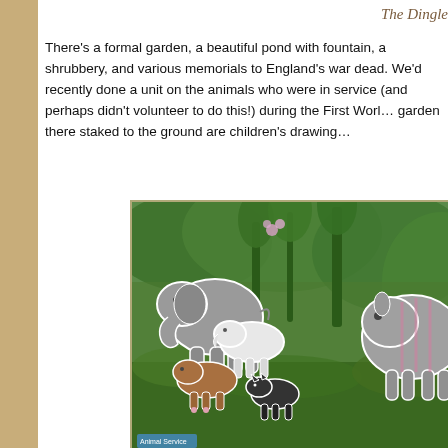The Dingle
There's a formal garden, a beautiful pond with fountain, a shrubbery, and various memorials to England's war dead. We'd recently done a unit on the animals who were in service (and perhaps didn't volunteer to do this!) during the First World War. In the garden there staked to the ground are children's drawings
[Figure (photo): Children's paper animal cutouts staked into a garden ground among green foliage, depicting various animals including elephants, donkeys/horses, and other creatures drawn and coloured by children.]